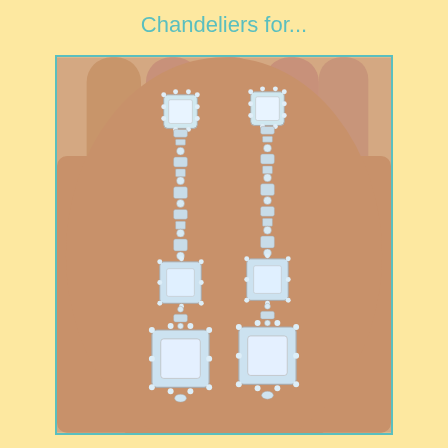Chandeliers for...
[Figure (photo): A pair of long chandelier diamond earrings held in a person's open palm. Each earring features a square diamond stud at the top surrounded by a halo of small diamonds, followed by a long chain of alternating round diamonds and rectangular/baguette stones, then a mid-section square diamond cluster, and ending with a large square diamond pendant at the bottom, all set in silver/white gold.]